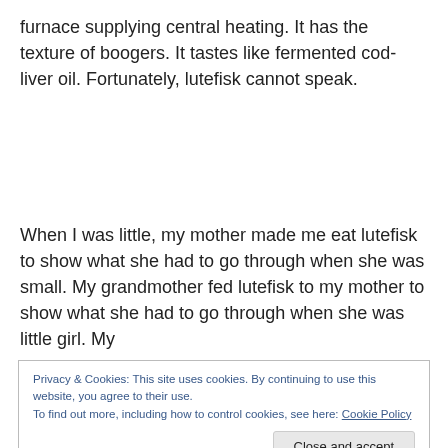furnace supplying central heating. It has the texture of boogers. It tastes like fermented cod-liver oil. Fortunately, lutefisk cannot speak.
When I was little, my mother made me eat lutefisk to show what she had to go through when she was small. My grandmother fed lutefisk to my mother to show what she had to go through when she was little girl. My
Privacy & Cookies: This site uses cookies. By continuing to use this website, you agree to their use.
To find out more, including how to control cookies, see here: Cookie Policy
thousands of them never came back.